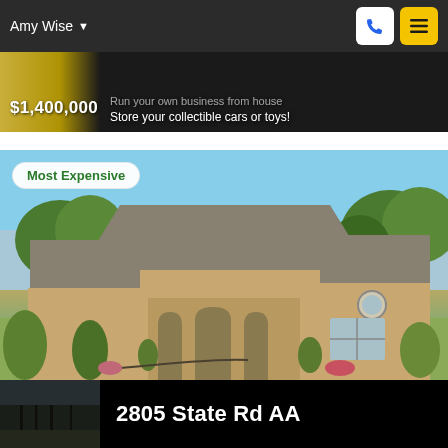Amy Wise
$1,400,000 Run your own business from home... Store your collectible cars or toys!
[Figure (photo): Exterior photo of a large tan stucco ranch-style house with arched portico entry, multiple gabled rooflines, circular driveway with center island, lush landscaping, and blue sky background. Badge overlay reads 'Most Expensive'. Address overlay reads '2805 State Rd AA'.]